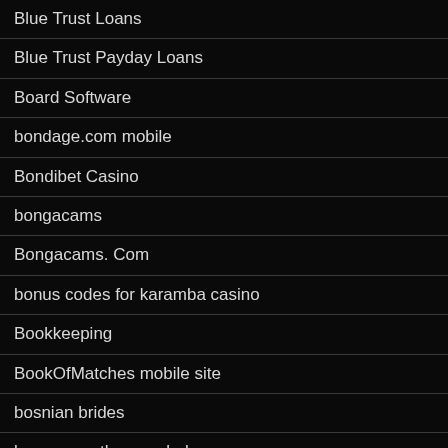Blue Trust Loans
Blue Trust Payday Loans
Board Software
bondage.com mobile
Bondibet Casino
bongacams
Bongacams. Com
bonus codes for karamba casino
Bookkeeping
BookOfMatches mobile site
bosnian brides
bournemouth sugar baby
brazilcupid promo code